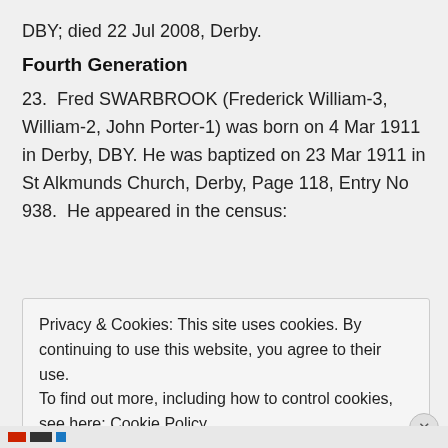DBY; died 22 Jul 2008, Derby.
Fourth Generation
23.  Fred SWARBROOK (Frederick William-3, William-2, John Porter-1) was born on 4 Mar 1911 in Derby, DBY. He was baptized on 23 Mar 1911 in St Alkmunds Church, Derby, Page 118, Entry No 938.  He appeared in the census:
Privacy & Cookies: This site uses cookies. By continuing to use this website, you agree to their use.
To find out more, including how to control cookies, see here: Cookie Policy
Close and accept